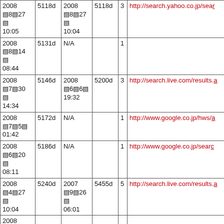| Date | Age | Prev Date | Prev Age | N | URL |
| --- | --- | --- | --- | --- | --- |
| 2008
▧8▧27
▧
10:05 | 5118d | 2008
▧8▧27
▧
10:04 | 5118d | 3 | http://search.yahoo.co.jp/sea… |
| 2008
▧8▧14
▧
08:44 | 5131d | N/A |  | 1 |  |
| 2008
▧7▧30
▧
14:34 | 5146d | 2008
▧6▧6▧
19:32 | 5200d | 3 | http://search.live.com/results… |
| 2008
▧7▧5▧
01:42 | 5172d | N/A |  | 1 | http://www.google.co.jp/hws/… |
| 2008
▧6▧20
▧
08:11 | 5186d | N/A |  | 1 | http://www.google.co.jp/sear… |
| 2008
▧4▧27
▧
10:04 | 5240d | 2007
▧9▧26
▧
06:01 | 5455d | 5 | http://search.live.com/results… |
| 2008 |  |  |  |  |  |